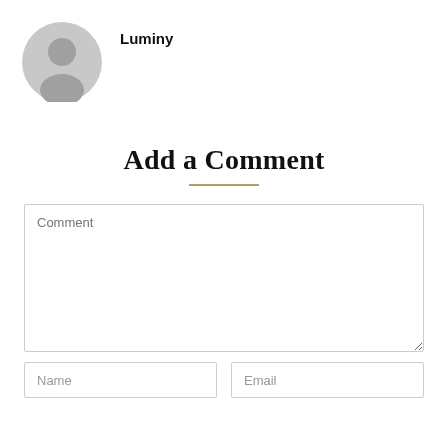[Figure (illustration): Gray circular avatar/profile placeholder icon showing a silhouette of a person]
Luminy
Add a Comment
[Figure (other): Comment textarea input field with placeholder text 'Comment']
[Figure (other): Name and Email input fields side by side]